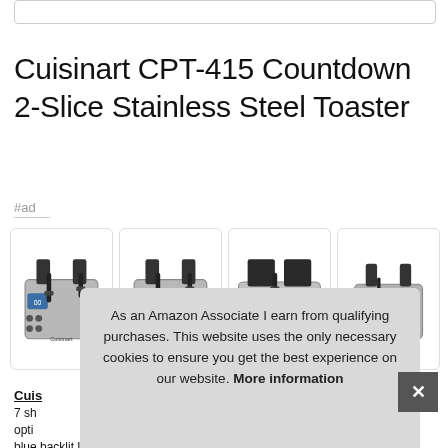Cuisinart CPT-415 Countdown 2-Slice Stainless Steel Toaster
#ad
[Figure (photo): Four product images of the Cuisinart CPT-415 Countdown 2-Slice Stainless Steel Toaster shown from various angles, displayed in individual bordered cards side by side.]
Cuis
7 sh
opti
blue backlit LCD countdown feature display. Blue led function
As an Amazon Associate I earn from qualifying purchases. This website uses the only necessary cookies to ensure you get the best experience on our website. More information